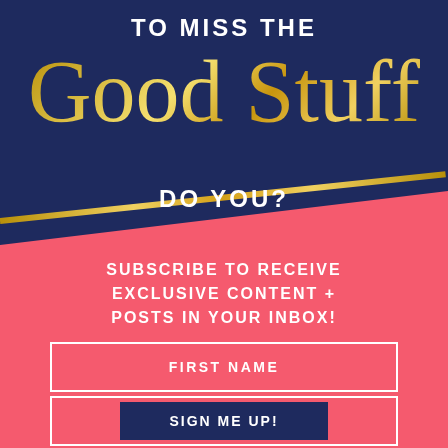TO MISS THE Good Stuff DO YOU?
SUBSCRIBE TO RECEIVE EXCLUSIVE CONTENT + POSTS IN YOUR INBOX!
FIRST NAME
EMAIL ADDRESS
SIGN ME UP!